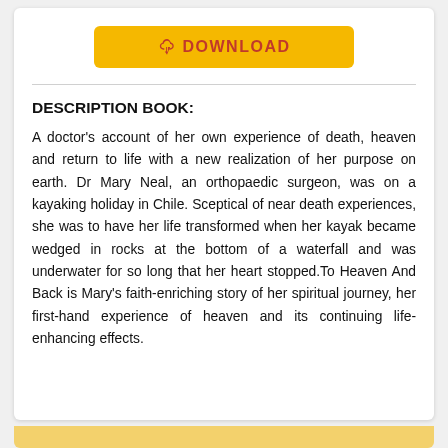[Figure (other): Yellow download button with cloud/download icon and red bold text 'DOWNLOAD']
DESCRIPTION BOOK:
A doctor's account of her own experience of death, heaven and return to life with a new realization of her purpose on earth. Dr Mary Neal, an orthopaedic surgeon, was on a kayaking holiday in Chile. Sceptical of near death experiences, she was to have her life transformed when her kayak became wedged in rocks at the bottom of a waterfall and was underwater for so long that her heart stopped.To Heaven And Back is Mary's faith-enriching story of her spiritual journey, her first-hand experience of heaven and its continuing life-enhancing effects.